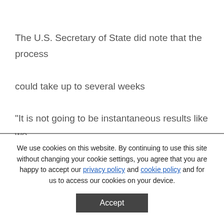The U.S. Secretary of State did note that the process could take up to several weeks "It is not going to be instantaneous results like we are used to in other parts of the world so we should be patient, "Powell said.
We use cookies on this website. By continuing to use this site without changing your cookie settings, you agree that you are happy to accept our privacy policy and cookie policy and for us to access our cookies on your device.